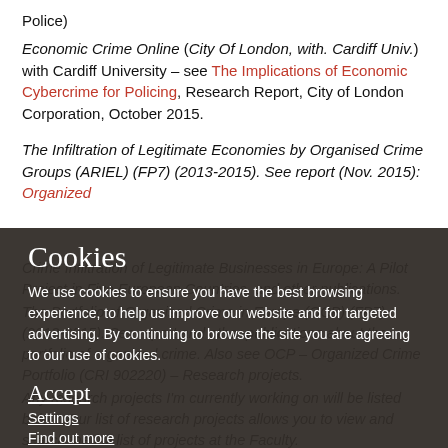Police)
Economic Crime Online (City Of London, with. Cardiff Univ.) with Cardiff University – see The Implications of Economic Cybercrime for Policing, Research Report, City of London Corporation, October 2015.
The Infiltration of Legitimate Economies by Organised Crime Groups (ARIEL) (FP7) (2013-2015). See report (Nov. 2015): Organized Crime Infiltration of Legitimate Businesses in Europe: A Pilot Project in Five European Countries, and other publications.
The Portfolio of Organised Crime in Europe (OCP) (FP7) (2013-2015). See report and other publications about the portfolio of organised crime. Also see OCP – Organized Crime Portfolio (CRI 902220) – Research projects.
Any research projects I'm currently working on will be listed below. Our list of research projects allows you to view and search the full list of projects at the Faculty.
CRITICaL – Combatting eCriminals In The CLoud
Cookies
We use cookies to ensure you have the best browsing experience, to help us improve our website and for targeted advertising. By continuing to browse the site you are agreeing to our use of cookies.
Accept
Settings
Find out more